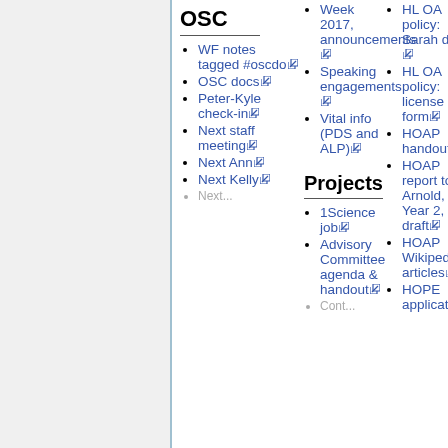OSC
WF notes tagged #oscdo
OSC docs
Peter-Kyle check-in
Next staff meeting
Next Ann
Next Kelly
Week 2017, announcements
Speaking engagements
Vital info (PDS and ALP)
Projects
1Science job
Advisory Committee agenda & handout
HL OA policy: Sarah doc
HL OA policy: license form
HOAP handout
HOAP report to Arnold, Year 2, draft
HOAP Wikipedia articles
HOPE application